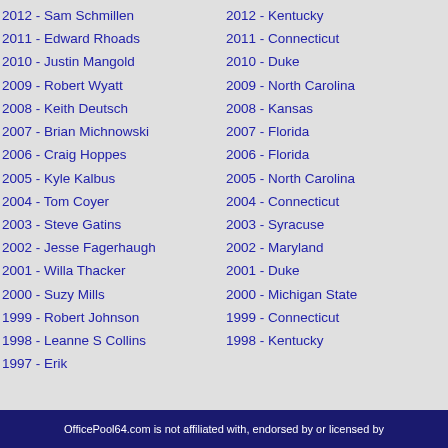2012 - Sam Schmillen
2011 - Edward Rhoads
2010 - Justin Mangold
2009 - Robert Wyatt
2008 - Keith Deutsch
2007 - Brian Michnowski
2006 - Craig Hoppes
2005 - Kyle Kalbus
2004 - Tom Coyer
2003 - Steve Gatins
2002 - Jesse Fagerhaugh
2001 - Willa Thacker
2000 - Suzy Mills
1999 - Robert Johnson
1998 - Leanne S Collins
1997 - Erik
2012 - Kentucky
2011 - Connecticut
2010 - Duke
2009 - North Carolina
2008 - Kansas
2007 - Florida
2006 - Florida
2005 - North Carolina
2004 - Connecticut
2003 - Syracuse
2002 - Maryland
2001 - Duke
2000 - Michigan State
1999 - Connecticut
1998 - Kentucky
OfficePool64.com is not affiliated with, endorsed by or licensed by